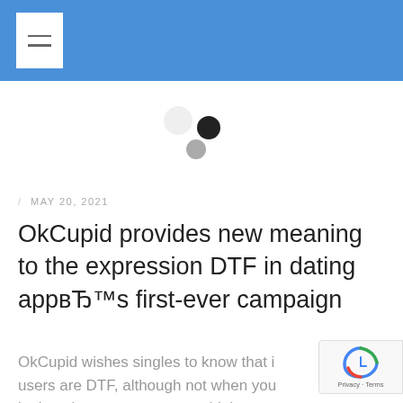Navigation menu header bar with hamburger icon
[Figure (other): Loading indicator with three circles: one white/light circle top-left, one dark black circle top-right, one gray circle bottom-right]
/ MAY 20, 2021
OkCupid provides new meaning to the expression DTF in dating appвЂ™s first-ever campaign
OkCupid wishes singles to know that its users are DTF, although not when you look at the means you may think